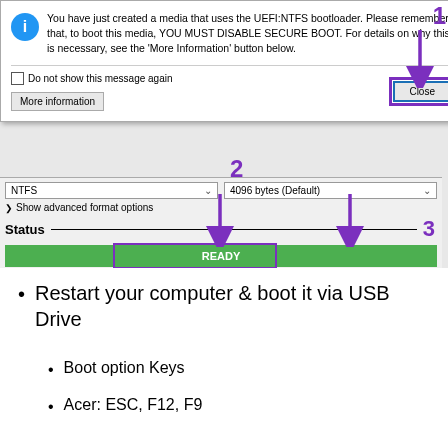[Figure (screenshot): Screenshot of Rufus USB tool showing a dialog about UEFI:NTFS bootloader requiring Secure Boot to be disabled, with numbered annotations (1, 2, 3) and purple arrows pointing to 'Close' button in dialog, label 2 pointing to the main area, and label 3 pointing to the CLOSE button in the main Rufus window. The main window shows NTFS file system, 4096 bytes (Default), Show advanced format options, Status section with READY bar in green, START and CLOSE buttons, and '1 device found' status bar with time 00:01:21.]
Restart your computer & boot it via USB Drive
Boot option Keys
Acer: ESC, F12, F9